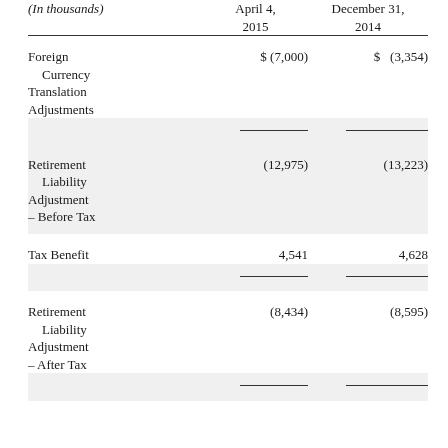| (In thousands) | April 4, 2015 | December 31, 2014 |
| --- | --- | --- |
| Foreign Currency Translation Adjustments | $ (7,000) | $ (3,354) |
| Retirement Liability Adjustment – Before Tax | (12,975) | (13,223) |
| Tax Benefit | 4,541 | 4,628 |
| Retirement Liability Adjustment – After Tax | (8,434) | (8,595) |